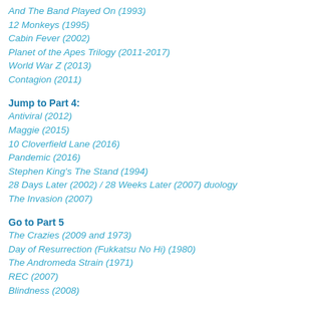And The Band Played On (1993)
12 Monkeys (1995)
Cabin Fever (2002)
Planet of the Apes Trilogy (2011-2017)
World War Z (2013)
Contagion (2011)
Jump to Part 4:
Antiviral (2012)
Maggie (2015)
10 Cloverfield Lane (2016)
Pandemic (2016)
Stephen King's The Stand (1994)
28 Days Later (2002) / 28 Weeks Later (2007) duology
The Invasion (2007)
Go to Part 5
The Crazies (2009 and 1973)
Day of Resurrection (Fukkatsu No Hi) (1980)
The Andromeda Strain (1971)
REC (2007)
Blindness (2008)